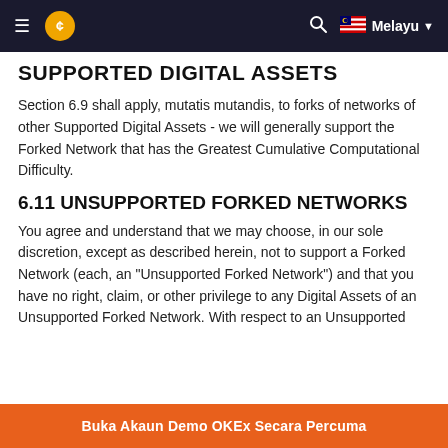≡  [OKEx logo]  [search icon]  🇲🇾 Melayu ▼
SUPPORTED DIGITAL ASSETS
Section 6.9 shall apply, mutatis mutandis, to forks of networks of other Supported Digital Assets - we will generally support the Forked Network that has the Greatest Cumulative Computational Difficulty.
6.11 UNSUPPORTED FORKED NETWORKS
You agree and understand that we may choose, in our sole discretion, except as described herein, not to support a Forked Network (each, an "Unsupported Forked Network") and that you have no right, claim, or other privilege to any Digital Assets of an Unsupported Forked Network. With respect to an Unsupported
Buka Akaun Demo OKEx Secara Percuma